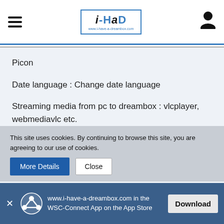i-HaD www.i-have-a-dreambox.com
Picon
Date language : Change date language
Streaming media from pc to dreambox : vlcplayer, webmediavlc etc.
Tips:
Second infobar:
This site uses cookies. By continuing to browse this site, you are agreeing to our use of cookies.
More Details | Close
www.i-have-a-dreambox.com in the WSC-Connect App on the App Store | Download